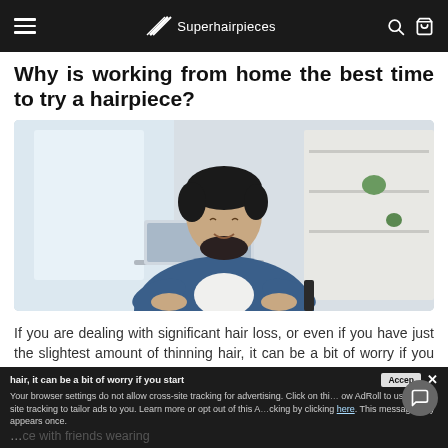Superhairpieces
Why is working from home the best time to try a hairpiece?
[Figure (photo): A smiling young man with dark hair and beard wearing a blue denim shirt, working on a laptop in a bright home office setting with shelves in the background.]
If you are dealing with significant hair loss, or even if you have just the slightest amount of thinning hair, it can be a bit of worry if you start to miss a hairpiece with friends wearing
Your browser settings do not allow cross-site tracking for advertising. Click on this to allow AdRoll to use cross-site tracking to tailor ads to you. Learn more or opt out of this AdRoll tracking by clicking here. This message only appears once.